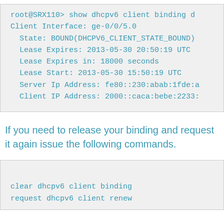[Figure (screenshot): Terminal output showing DHCPv6 client binding details including client interface ge-0/0/5.0, state BOUND, lease expiry, lease start, server IP address and client IP address.]
If you need to release your binding and request it again issue the following commands.
[Figure (screenshot): Terminal commands: clear dhcpv6 client binding and request dhcpv6 client renew]